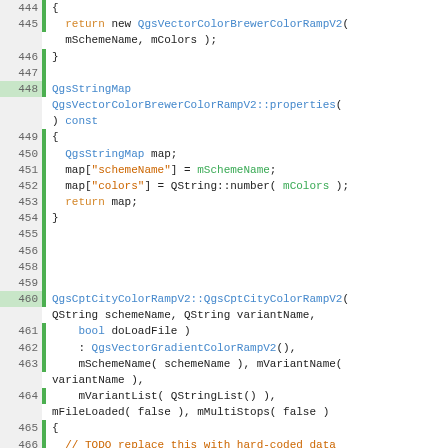[Figure (screenshot): Source code viewer showing C++ code lines 444-471, with line numbers, green gutter markers, and syntax highlighting. Code shows QgsVectorColorBrewerColorRampV2 and QgsCptCityColorRampV2 class implementations.]